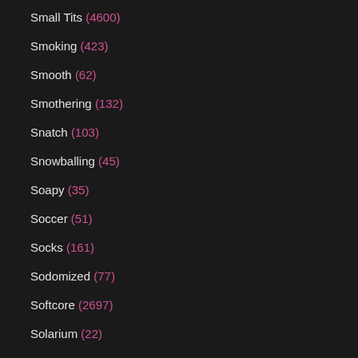Small Tits (4600)
Smoking (423)
Smooth (62)
Smothering (132)
Snatch (103)
Snowballing (45)
Soapy (35)
Soccer (51)
Socks (161)
Sodomized (77)
Softcore (2697)
Solarium (22)
Solo (1952)
Solo Girl (296)
Solo Mom (36)
Sorority (42)